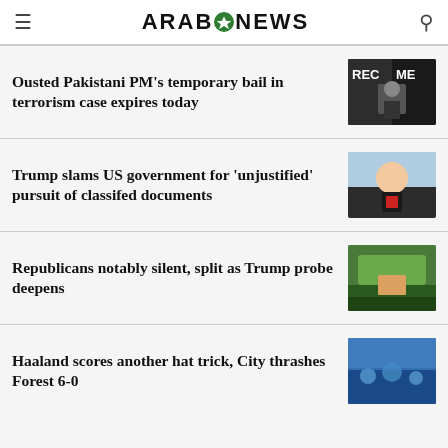ARAB NEWS
Ousted Pakistani PM’s temporary bail in terrorism case expires today
Trump slams US government for ‘unjustified’ pursuit of classifed documents
Republicans notably silent, split as Trump probe deepens
Haaland scores another hat trick, City thrashes Forest 6-0